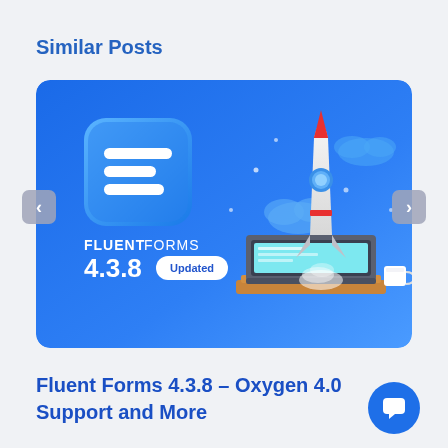Similar Posts
[Figure (screenshot): Fluent Forms 4.3.8 promotional banner showing the Fluent Forms logo icon on the left and a rocket launching from a laptop illustration on the right, with text 'FLUENT FORMS 4.3.8 Updated' on a blue gradient background. Navigation arrows on left and right sides of the card.]
Fluent Forms 4.3.8 – Oxygen 4.0 Support and More